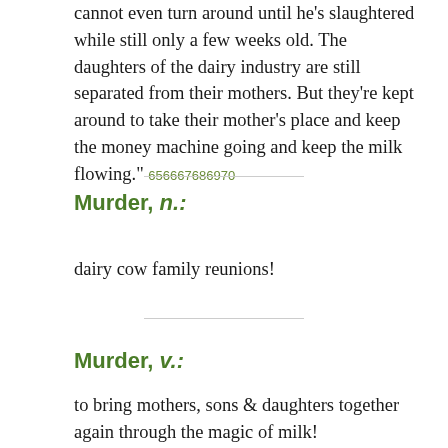cannot even turn around until he's slaughtered while still only a few weeks old. The daughters of the dairy industry are still separated from their mothers. But they're kept around to take their mother's place and keep the money machine going and keep the milk flowing." 656667686970
Murder, n.:
dairy cow family reunions!
Murder, v.:
to bring mothers, sons & daughters together again through the magic of milk!